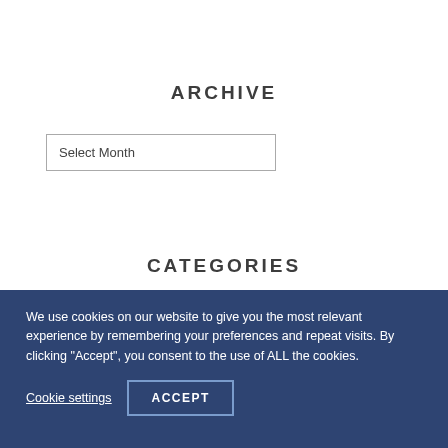ARCHIVE
Select Month
CATEGORIES
We use cookies on our website to give you the most relevant experience by remembering your preferences and repeat visits. By clicking “Accept”, you consent to the use of ALL the cookies.
Cookie settings
ACCEPT